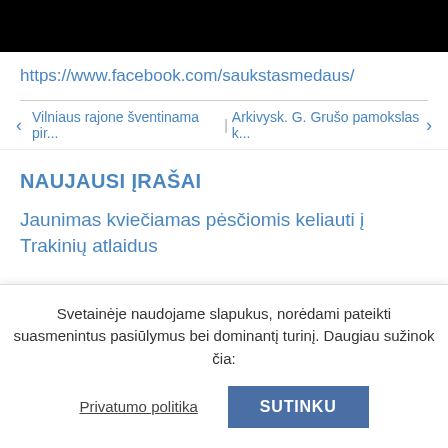[Figure (screenshot): Black image/header bar at top of page]
https://www.facebook.com/saukstasmedaus/
< Vilniaus rajone šventinama pir...   Arkivysk. G. Grušo pamokslas k... >
NAUJAUSI ĮRAŠAI
Jaunimas kviečiamas pėsčiomis keliauti į Trakinių atlaidus
Svetainėje naudojame slapukus, norėdami pateikti suasmenintus pasiūlymus bei dominantį turinį. Daugiau sužinok čia:
Privatumo politika
SUTINKU